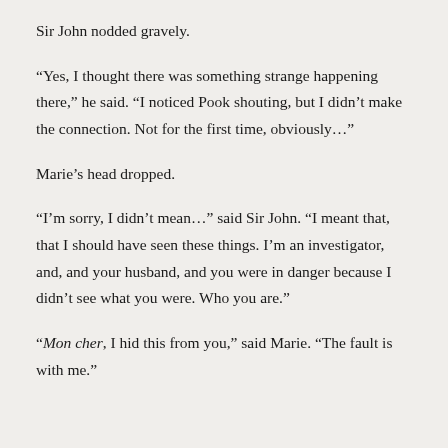Sir John nodded gravely.
“Yes, I thought there was something strange happening there,” he said. “I noticed Pook shouting, but I didn’t make the connection. Not for the first time, obviously…”
Marie’s head dropped.
“I’m sorry, I didn’t mean…” said Sir John. “I meant that, that I should have seen these things. I’m an investigator, and, and your husband, and you were in danger because I didn’t see what you were. Who you are.”
“Mon cher, I hid this from you,” said Marie. “The fault is with me.”